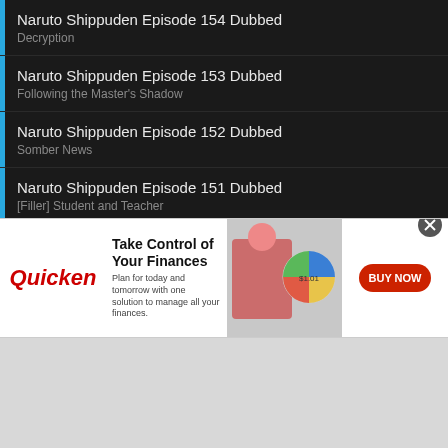Naruto Shippuden Episode 154 Dubbed
Decryption
Naruto Shippuden Episode 153 Dubbed
Following the Master's Shadow
Naruto Shippuden Episode 152 Dubbed
Somber News
Naruto Shippuden Episode 151 Dubbed
[Filler] Student and Teacher
Naruto Shippuden Episode 150 Dubbed
[Filler] The Forbidden Jutsu Released
Naruto Shippuden Episode 149 Dubbed
[Filler] Separation
[Figure (screenshot): Quicken advertisement banner: Take Control of Your Finances. Plan for today and tomorrow with one solution to manage all your finances. BUY NOW button. Shows woman at laptop with pie chart graphic.]